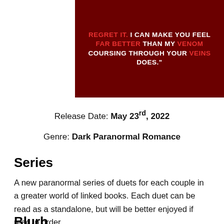[Figure (illustration): Dark red background book cover excerpt with bold uppercase text quote: REGRET IT. I CAN MAKE YOU FEEL FAR BETTER THAN MY VENOM COURSING THROUGH YOUR VEINS DOES. Words REGRET IT, FAR BETTER, VENOM, VEINS in red; rest in white.]
Release Date: May 23rd, 2022
Genre: Dark Paranormal Romance
Series
A new paranormal series of duets for each couple in a greater world of linked books. Each duet can be read as a standalone, but will be better enjoyed if read in order.
Blurb